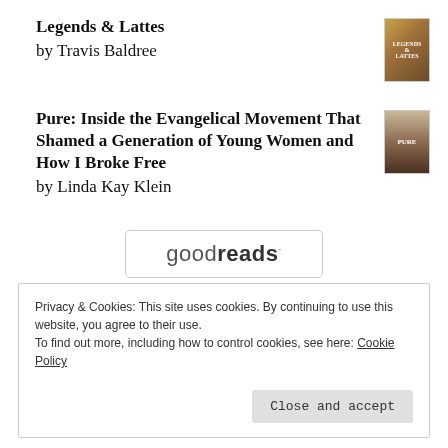Legends & Lattes
by Travis Baldree
[Figure (illustration): Book cover of Legends & Lattes]
Pure: Inside the Evangelical Movement That Shamed a Generation of Young Women and How I Broke Free
by Linda Kay Klein
[Figure (illustration): Book cover of Pure]
[Figure (logo): goodreads logo in a rounded rectangle box]
Privacy & Cookies: This site uses cookies. By continuing to use this website, you agree to their use.
To find out more, including how to control cookies, see here: Cookie Policy
Close and accept